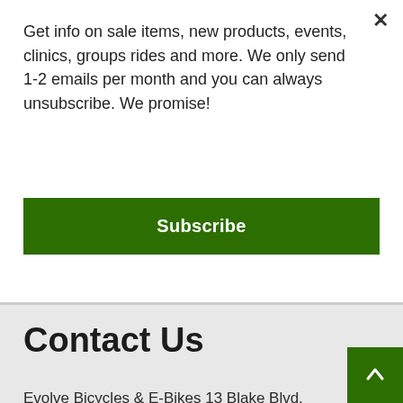Get info on sale items, new products, events, clinics, groups rides and more. We only send 1-2 emails per month and you can always unsubscribe. We promise!
Subscribe
Contact Us
Evolve Bicycles & E-Bikes 13 Blake Blvd. Celebration, FL 34747
(321) 939-2453
info@evolvebikes.com
Directions & Hours